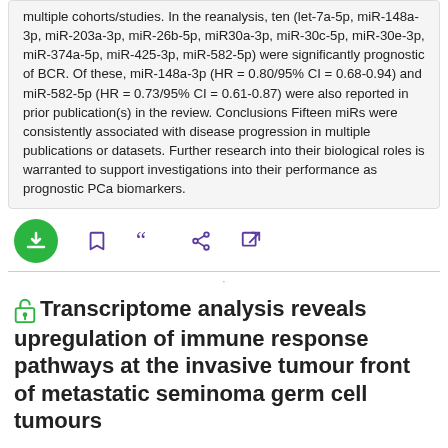multiple cohorts/studies. In the reanalysis, ten (let-7a-5p, miR-148a-3p, miR-203a-3p, miR-26b-5p, miR30a-3p, miR-30c-5p, miR-30e-3p, miR-374a-5p, miR-425-3p, miR-582-5p) were significantly prognostic of BCR. Of these, miR-148a-3p (HR = 0.80/95% CI = 0.68-0.94) and miR-582-5p (HR = 0.73/95% CI = 0.61-0.87) were also reported in prior publication(s) in the review. Conclusions Fifteen miRs were consistently associated with disease progression in multiple publications or datasets. Further research into their biological roles is warranted to support investigations into their performance as prognostic PCa biomarkers.
[Figure (other): Action bar with download (green circle), bookmark, quote, share, and external link icons]
Transcriptome analysis reveals upregulation of immune response pathways at the invasive tumour front of metastatic seminoma germ cell tumours